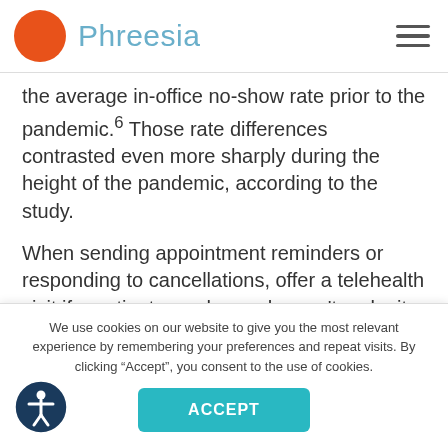Phreesia
the average in-office no-show rate prior to the pandemic.6 Those rate differences contrasted even more sharply during the height of the pandemic, according to the study.
When sending appointment reminders or responding to cancellations, offer a telehealth visit if a patient says he or she can't make it to the office, or if they express
We use cookies on our website to give you the most relevant experience by remembering your preferences and repeat visits. By clicking “Accept”, you consent to the use of cookies.